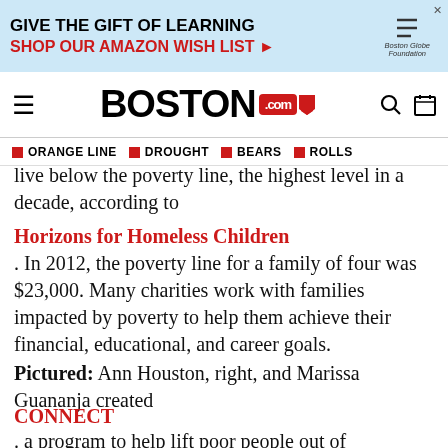[Figure (screenshot): Advertisement banner: GIVE THE GIFT OF LEARNING / SHOP OUR AMAZON WISH LIST with arrow, Boston Globe Foundation logo, and an illustrated figure]
BOSTON.com — navigation bar with hamburger menu, Boston.com logo, search icon, and calendar icon
ORANGE LINE | DROUGHT | BEARS | ROLLS — topic navigation bar
live below the poverty line, the highest level in a decade, according to
Horizons for Homeless Children
. In 2012, the poverty line for a family of four was $23,000. Many charities work with families impacted by poverty to help them achieve their financial, educational, and career goals.
Pictured: Ann Houston, right, and Marissa Guananja created
CONNECT
. a program to help lift poor people out of